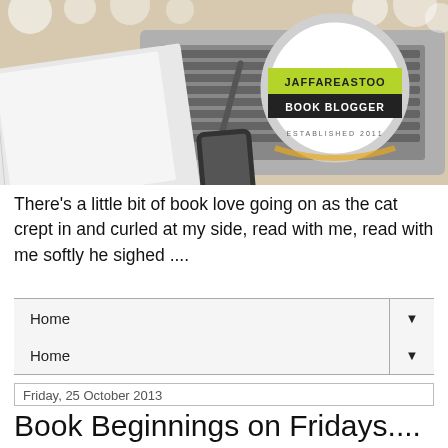[Figure (photo): Banner image of a desk with a laptop, notebook, pen and phone; overlaid with a circular book blogger badge for 'jaffareastoo' established 2011 with yellow-green and dark label strips.]
There's a little bit of book love going on as the cat crept in and curled at my side, read with me, read with me softly he sighed ....
Home ▼
Home ▼
Friday, 25 October 2013
Book Beginnings on Fridays....